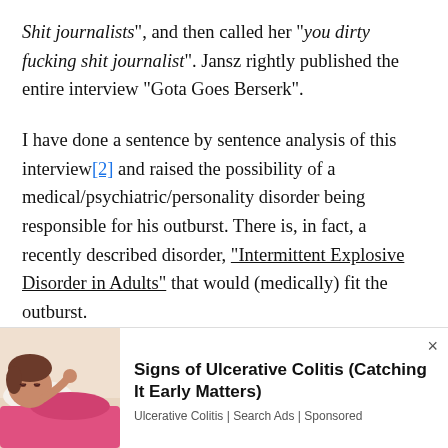Shit journalists", and then called her "you dirty fucking shit journalist". Jansz rightly published the entire interview "Gota Goes Berserk".
I have done a sentence by sentence analysis of this interview[2] and raised the possibility of a medical/psychiatric/personality disorder being responsible for his outburst. There is, in fact, a recently described disorder, "Intermittent Explosive Disorder in Adults" that would (medically) fit the outburst.
Others eg ‘Friday Forum’, a civilian group inColombowith some distinguished people in
[Figure (illustration): Advertisement: illustration of a woman lying in bed looking unwell, with pink blanket]
Signs of Ulcerative Colitis (Catching It Early Matters)
Ulcerative Colitis | Search Ads | Sponsored